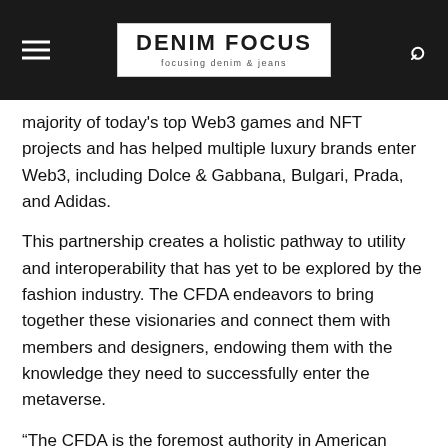DENIM FOCUS — focusing denim & jeans
majority of today's top Web3 games and NFT projects and has helped multiple luxury brands enter Web3, including Dolce & Gabbana, Bulgari, Prada, and Adidas.
This partnership creates a holistic pathway to utility and interoperability that has yet to be explored by the fashion industry. The CFDA endeavors to bring together these visionaries and connect them with members and designers, endowing them with the knowledge they need to successfully enter the metaverse.
“The CFDA is the foremost authority in American Fashion, and we are honored to be partnering with them on their foray into the metaverse,” says Co-Founder and COO of The Sandbox Arthur Madrid. “We believe the metaverse is the new